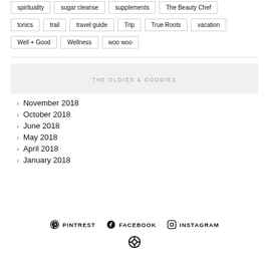tonics
trail
travel guide
Trip
True Roots
vacation
Well + Good
Wellness
woo woo
THE OLDIES & GOODIES
November 2018
October 2018
June 2018
May 2018
April 2018
January 2018
PINTREST  FACEBOOK  INSTAGRAM